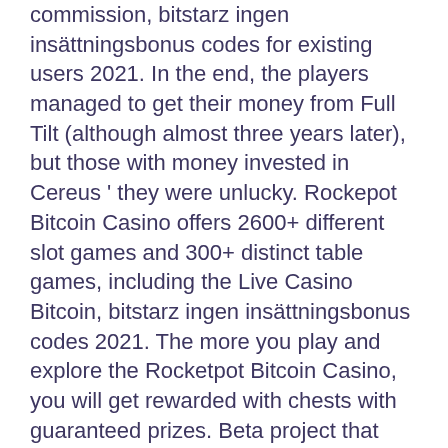commission, bitstarz ingen insättningsbonus codes for existing users 2021. In the end, the players managed to get their money from Full Tilt (although almost three years later), but those with money invested in Cereus ' they were unlucky. Rockepot Bitcoin Casino offers 2600+ different slot games and 300+ distinct table games, including the Live Casino Bitcoin, bitstarz ingen insättningsbonus codes 2021. The more you play and explore the Rocketpot Bitcoin Casino, you will get rewarded with chests with guaranteed prizes. Beta project that offers 200 satoshis to play free poker , yo can withdraw your earnings, bitstarz ingen insättningsbonus for existing players. Get In On NitroMadness Poker Tourneys. For this reason, players need to identify specific offers that are worth the time and effort. Below are some of the tips you can use to squeeze the most out of your no deposit offer, bitstarz ingen insättningsbonus codes